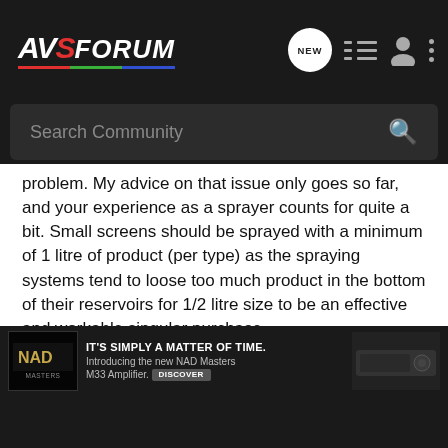AVS FORUM
problem. My advice on that issue only goes so far, and your experience as a sprayer counts for quite a bit. Small screens should be sprayed with a minimum of 1 litre of product (per type) as the spraying systems tend to loose too much product in the bottom of their reservoirs for 1/2 litre size to be an effective and workable singular purchase.
If you are spraying our product, our 'Flow Release' agent can be made available to you for a minimal fee, and shipped along with your purchase. This is a maximum grade agent for separating the particle mix in the product to aid in keeping the spray tip from clogging and spitting, and it will 'flow' much better with this agent added to it. Your application results will be exemplary...tions. This allo...o of 2
[Figure (screenshot): NAD Masters M33 Amplifier advertisement banner at the bottom of the page]